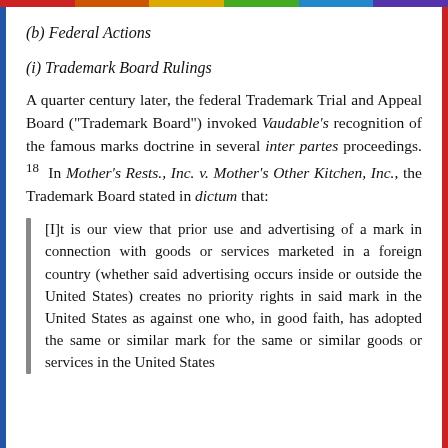(b) Federal Actions
(i) Trademark Board Rulings
A quarter century later, the federal Trademark Trial and Appeal Board ("Trademark Board") invoked Vaudable's recognition of the famous marks doctrine in several inter partes proceedings. 18  In Mother's Rests., Inc. v. Mother's Other Kitchen, Inc., the Trademark Board stated in dictum that:
[I]t is our view that prior use and advertising of a mark in connection with goods or services marketed in a foreign country (whether said advertising occurs inside or outside the United States) creates no priority rights in said mark in the United States as against one who, in good faith, has adopted the same or similar mark for the same or similar goods or services in the United States